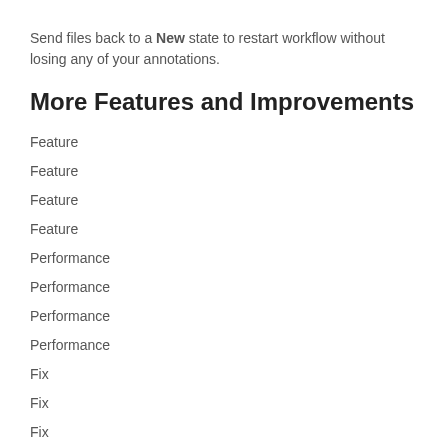Send files back to a New state to restart workflow without losing any of your annotations.
More Features and Improvements
Feature
Feature
Feature
Feature
Performance
Performance
Performance
Performance
Fix
Fix
Fix
Fix
Fix
Fix